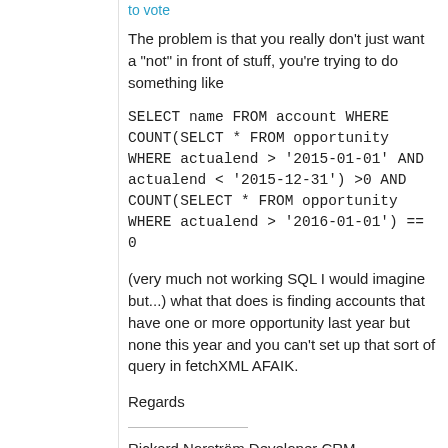to vote
The problem is that you really don't just want a "not" in front of stuff, you're trying to do something like
SELECT name FROM account WHERE COUNT(SELCT * FROM opportunity WHERE actualend > '2015-01-01' AND actualend < '2015-12-31') >0 AND COUNT(SELECT * FROM opportunity WHERE actualend > '2016-01-01') == 0
(very much not working SQL I would imagine but...) what that does is finding accounts that have one or more opportunity last year but none this year and you can't set up that sort of query in fetchXML AFAIK.
Regards
Rickard Norström Developer CRM-Konsulterna
http://www.crmkonsulterna.se
Swedish Dynamics CRM Forum:
http://www.crmforum.se